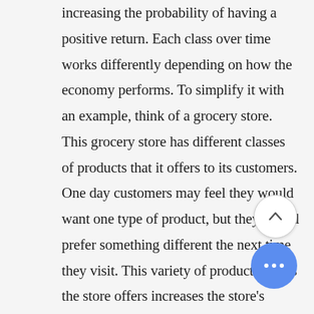increasing the probability of having a positive return. Each class over time works differently depending on how the economy performs. To simplify it with an example, think of a grocery store. This grocery store has different classes of products that it offers to its customers. One day customers may feel they would want one type of product, but they would prefer something different the next time they visit. This variety of product classes the store offers increases the store's probability of making money. Some consider